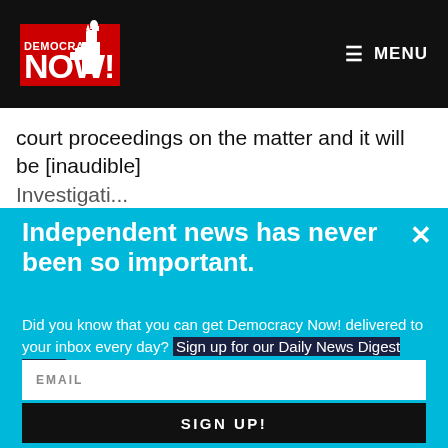Democracy Now! — MENU
court proceedings on the matter and it will be [inaudible]
Independent news has never been so important.
Did you know that you can get Democracy Now! delivered to your inbox every day? Sign up for our Daily News Digest today! Don't worry, we'll never share or sell your information.
EMAIL
SIGN UP!